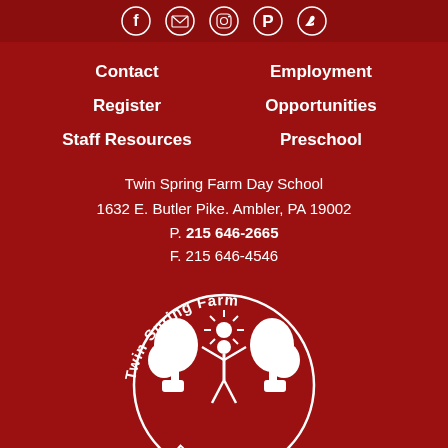[Figure (illustration): Social media icons (Facebook, email, Instagram, Pinterest, Twitter) in white circles on dark red bar]
Contact
Employment
Register
Opportunities
Staff Resources
Preschool
Twin Spring Farm Day School
1632 E. Butler Pike. Ambler, PA 19002
P. 215 646-2665
F. 215 646-4546
[Figure (logo): Twin Spring Farm Day Camp circular logo in white on red background, showing two trees and a person, with text 'Twin Spring Farm' arched at top and 'Day Camp' at bottom]